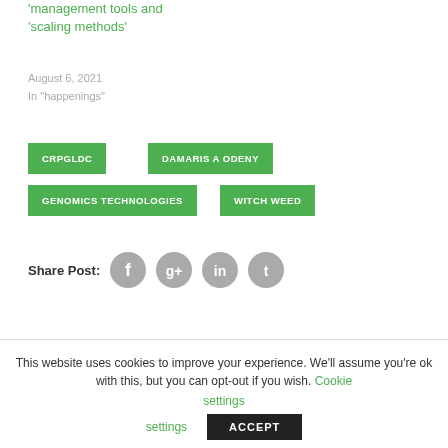'management tools and 'scaling methods'
August 6, 2021
In "happenings"
CRPGLDC
DAMARIS A ODENY
GENOMICS TECHNOLOGIES
WITCH WEED
Share Post:
This website uses cookies to improve your experience. We'll assume you're ok with this, but you can opt-out if you wish. Cookie settings ACCEPT